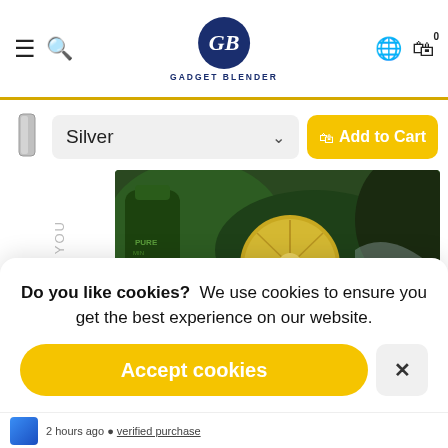GADGET BLENDER
[Figure (screenshot): Color variant selector row with silver cylinder icon, Silver dropdown, and Add to Cart button]
[Figure (photo): Product lifestyle photo: green bottle, lime slice, mint, ice]
[Figure (photo): Product lifestyle photo: lime, ice, close-up]
Do you like cookies?  We use cookies to ensure you get the best experience on our website.
Accept cookies
2 hours ago  verified purchase